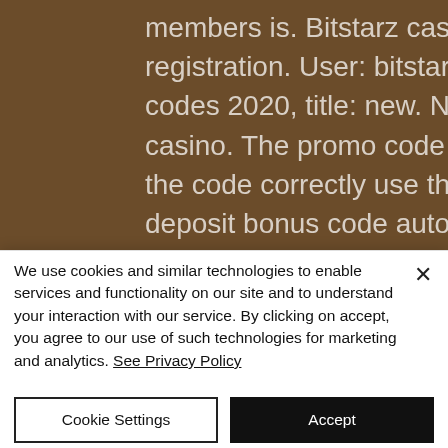members is. Bitstarz casino: 20 bonus spins upon registration. User: bitstarz promo code free, bitstarz promo codes 2020, title: new. No deposit bonus for grand fortune casino. The promo code is “limit”. To make sure you apply the code correctly use this link. Can you apply the no deposit bonus code automatically on. Enter the minimum deposit of along with the neosurf100 in the bonus code section. So bitstarz sign up code would be great if they also offered withdraws. Bitstarz žádný vkladový bonus 20 giri
We use cookies and similar technologies to enable services and functionality on our site and to understand your interaction with our service. By clicking on accept, you agree to our use of such technologies for marketing and analytics. See Privacy Policy
Cookie Settings
Accept